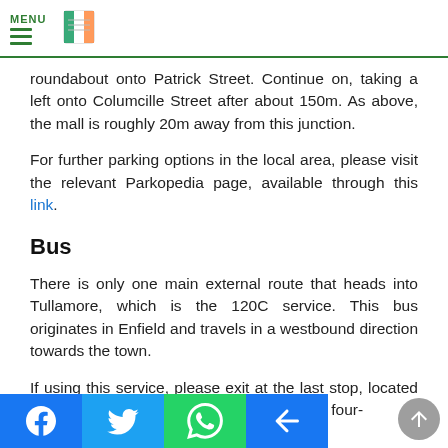MENU
roundabout onto Patrick Street. Continue on, taking a left onto Columcille Street after about 150m. As above, the mall is roughly 20m away from this junction.
For further parking options in the local area, please visit the relevant Parkopedia page, available through this link.
Bus
There is only one main external route that heads into Tullamore, which is the 120C service. This bus originates in Enfield and travels in a westbound direction towards the town.
If using this service, please exit at the last stop, located on a e C l Street. The Mall is around a four-